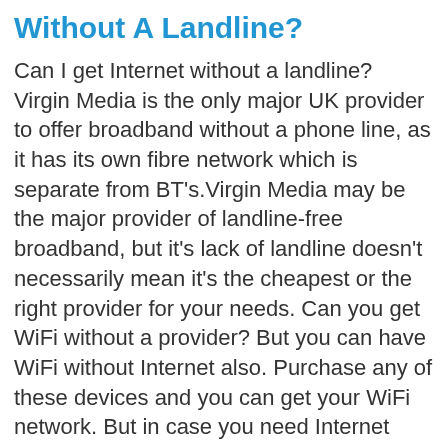Without A Landline?
Can I get Internet without a landline? Virgin Media is the only major UK provider to offer broadband without a phone line, as it has its own fibre network which is separate from BT's.Virgin Media may be the major provider of landline-free broadband, but it's lack of landline doesn't necessarily mean it's the cheapest or the right provider for your needs. Can you get WiFi without a provider? But you can have WiFi without Internet also. Purchase any of these devices and you can get your WiFi network. But in case you need Internet also then my friend you will have to get an Internet Provider which can be any Broadband service, mobile networks or a generous neighbor. Can you get WiFi without a phone jack? You don't need a phone line in order to get Internet service. In fact, most cable companies offer Internet